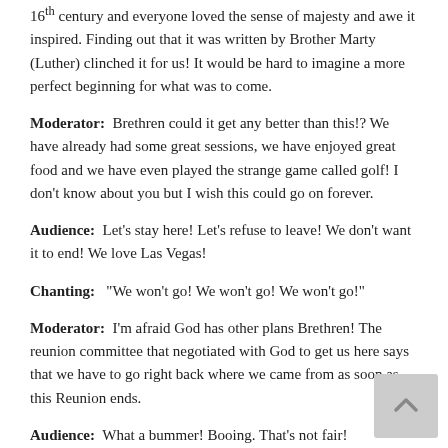16th century and everyone loved the sense of majesty and awe it inspired. Finding out that it was written by Brother Marty (Luther) clinched it for us! It would be hard to imagine a more perfect beginning for what was to come.
Moderator:  Brethren could it get any better than this!? We have already had some great sessions, we have enjoyed great food and we have even played the strange game called golf! I don't know about you but I wish this could go on forever.
Audience:  Let's stay here! Let's refuse to leave! We don't want it to end! We love Las Vegas!
Chanting:   "We won't go! We won't go! We won't go!"
Moderator:  I'm afraid God has other plans Brethren! The reunion committee that negotiated with God to get us here says that we have to go right back where we came from as soon as this Reunion ends.
Audience:  What a bummer! Booing. That's not fair!